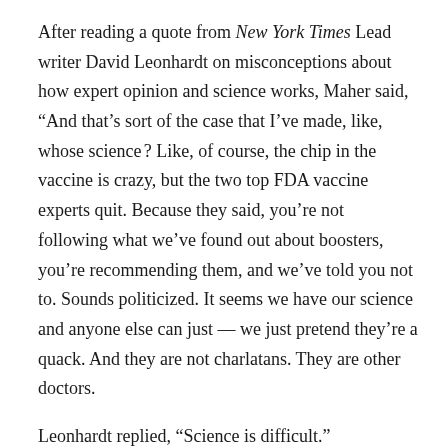After reading a quote from New York Times Lead writer David Leonhardt on misconceptions about how expert opinion and science works, Maher said, “And that’s sort of the case that I’ve made, like, whose science ? Like, of course, the chip in the vaccine is crazy, but the two top FDA vaccine experts quit. Because they said, you’re not following what we’ve found out about boosters, you’re recommending them, and we’ve told you not to. Sounds politicized. It seems we have our science and anyone else can just — we just pretend they’re a quack. And they are not charlatans. They are other doctors.
Leonhardt replied, “Science is difficult.”
Maher added: “Especially medical science, we don’t know anything.”
Leonhardt added that debate is a key part of science and that